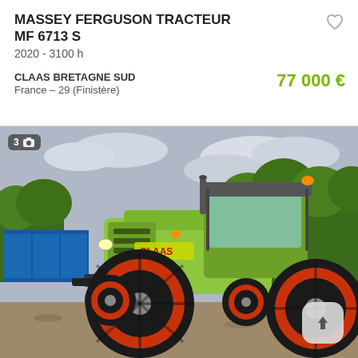MASSEY FERGUSON TRACTEUR MF 6713 S
2020 - 3100 h
CLAAS BRETAGNE SUD
France – 29 (Finistère)
77 000 €
[Figure (photo): Green Claas Arion tractor with red wheel rims parked on gravel, trees and a blue shipping container in background, cloudy sky]